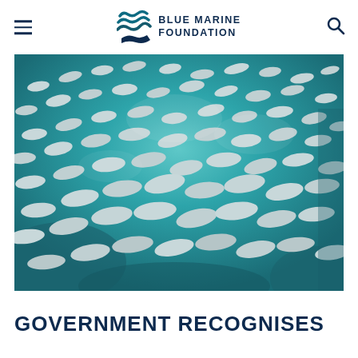Blue Marine Foundation
[Figure (photo): Underwater photograph of a large school of silvery fish swimming in turquoise/teal water, viewed from below, densely packed fish filling the entire frame.]
GOVERNMENT RECOGNISES